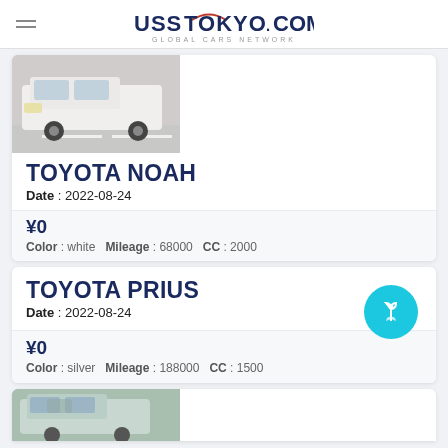USS TOKYO.COM — GLOBAL CARS NETWORK
[Figure (photo): White Toyota Noah van, front quarter view in parking lot]
TOYOTA NOAH
Date : 2022-08-24
¥0
Color : white   Mileage : 68000   CC : 2000
TOYOTA PRIUS
Date : 2022-08-24
¥0
Color : silver   Mileage : 188000   CC : 1500
[Figure (photo): Blue/silver car, front quarter view, partially visible at bottom]